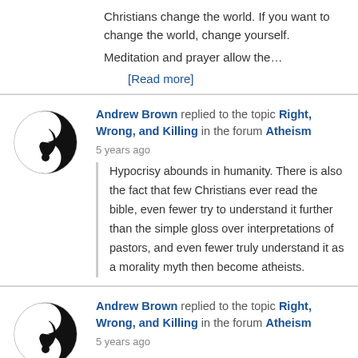Christians change the world. If you want to change the world, change yourself.

Meditation and prayer allow the…
[Read more]
[Figure (logo): Circular yin-yang style logo with black swirl on white background]
Andrew Brown replied to the topic Right, Wrong, and Killing in the forum Atheism
5 years ago
Hypocrisy abounds in humanity. There is also the fact that few Christians ever read the bible, even fewer try to understand it further than the simple gloss over interpretations of pastors, and even fewer truly understand it as a morality myth then become atheists.
[Figure (logo): Circular yin-yang style logo with black swirl on white background]
Andrew Brown replied to the topic Right, Wrong, and Killing in the forum Atheism
5 years ago